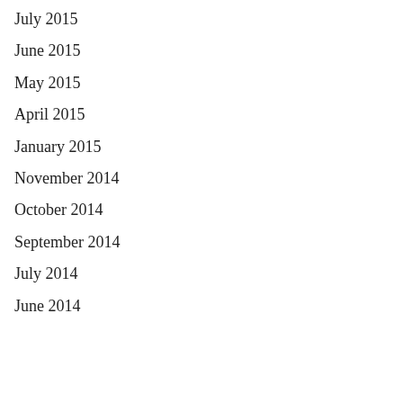July 2015
June 2015
May 2015
April 2015
January 2015
November 2014
October 2014
September 2014
July 2014
June 2014